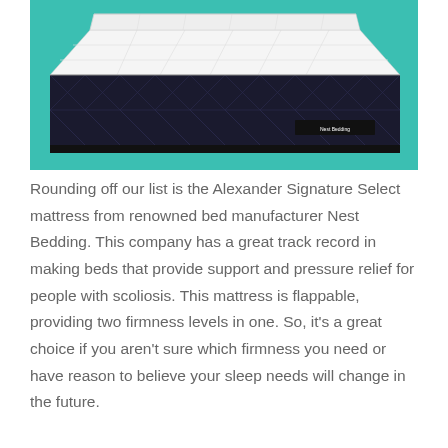[Figure (illustration): Photograph/illustration of the Alexander Signature Select mattress by Nest Bedding, shown angled on a teal/turquoise background. The mattress has a white quilted top and a dark navy/black quilted side panel with a diamond pattern and a small brand label.]
Rounding off our list is the Alexander Signature Select mattress from renowned bed manufacturer Nest Bedding. This company has a great track record in making beds that provide support and pressure relief for people with scoliosis. This mattress is flappable, providing two firmness levels in one. So, it's a great choice if you aren't sure which firmness you need or have reason to believe your sleep needs will change in the future.